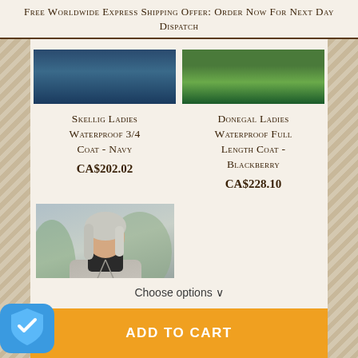Free Worldwide Express Shipping Offer: Order Now For Next Day Dispatch
[Figure (photo): Product listing image for Skellig Ladies Waterproof 3/4 Coat - Navy, showing dark blue background of coat]
Skellig Ladies Waterproof 3/4 Coat - Navy
CA$202.02
[Figure (photo): Product listing image for Donegal Ladies Waterproof Full Length Coat - Blackberry, showing green outdoor background]
Donegal Ladies Waterproof Full Length Coat - Blackberry
CA$228.10
[Figure (photo): Woman with grey hair wearing a grey/taupe waterproof coat with black turtleneck, outdoors]
Choose options ∨
ADD TO CART